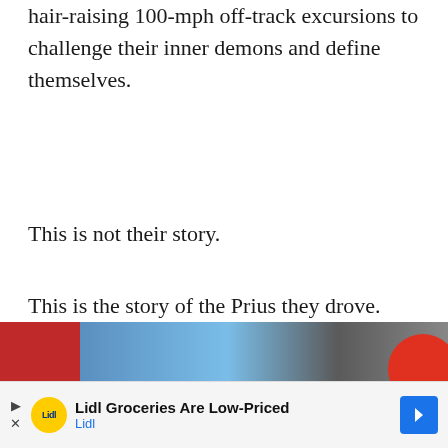hair-raising 100-mph off-track excursions to challenge their inner demons and define themselves.
This is not their story.
This is the story of the Prius they drove. Over 1,600 miles. From Ohio to New York to New Jersey to Philly and back to Ohio.
Plus fifteen laps on a ra
[Figure (screenshot): Embedded video player showing a man in black jacket standing near cars, with subtitle text reading 'The original Kia Niro was available for one main reason: Honda had as a hybrid, a plug-in']
[Figure (photo): Partial view of car hood, showing red and blue sections]
[Figure (other): Advertisement banner: Lidl Groceries Are Low-Priced, with Lidl logo and blue navigation arrow button]